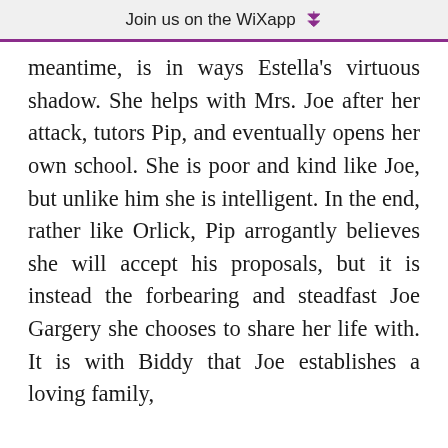Join us on the WiX app ↓
meantime, is in ways Estella's virtuous shadow. She helps with Mrs. Joe after her attack, tutors Pip, and eventually opens her own school. She is poor and kind like Joe, but unlike him she is intelligent. In the end, rather like Orlick, Pip arrogantly believes she will accept his proposals, but it is instead the forbearing and steadfast Joe Gargery she chooses to share her life with. It is with Biddy that Joe establishes a loving family,